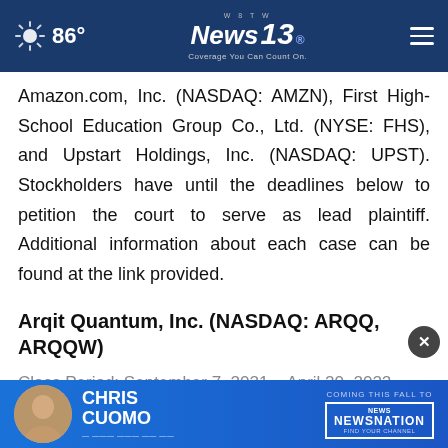86° | W8TW News 13 | Coverage You Can Count On.
Amazon.com, Inc. (NASDAQ: AMZN), First High-School Education Group Co., Ltd. (NYSE: FHS), and Upstart Holdings, Inc. (NASDAQ: UPST). Stockholders have until the deadlines below to petition the court to serve as lead plaintiff. Additional information about each case can be found at the link provided.
Arqit Quantum, Inc. (NASDAQ: ARQQ, ARQQW)
Class Period: September 7, 2021 – April 20, 2022
Lead Plaintiff Deadline: July 5, 2022
[Figure (advertisement): Chris Cuomo Coming This Fall to NewsNation advertisement banner with photo of Chris Cuomo]